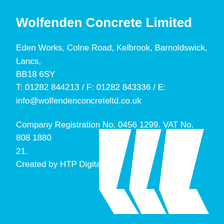Wolfenden Concrete Limited
Eden Works, Colne Road, Kelbrook, Barnoldswick, Lancs, BB18 6SY
T: 01282 844213 / F: 01282 843336 / E: info@wolfendenconcreteltd.co.uk
Company Registration No. 0456 1299. VAT No. 808 1880 21.
Created by HTP Digital
[Figure (logo): Stylized white W logo mark made of two overlapping chevron/triangle shapes on a cyan background, positioned in the lower right corner]